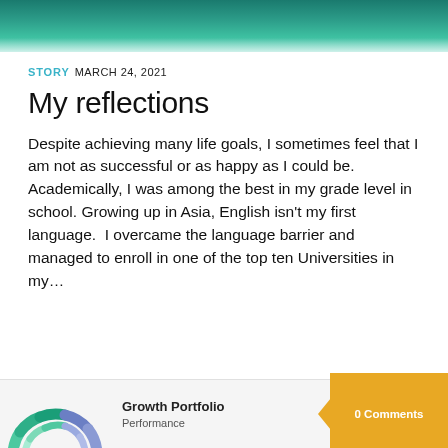[Figure (photo): Teal/green ocean water banner image at the top of the page]
STORY  MARCH 24, 2021
My reflections
Despite achieving many life goals, I sometimes feel that I am not as successful or as happy as I could be. Academically, I was among the best in my grade level in school. Growing up in Asia, English isn't my first language.  I overcame the language barrier and managed to enroll in one of the top ten Universities in my...
[Figure (donut-chart): Partial donut/arc chart visible at bottom left, multi-colored segments in greens and purples]
Growth Portfolio
Performance  ↑28
0 Comments